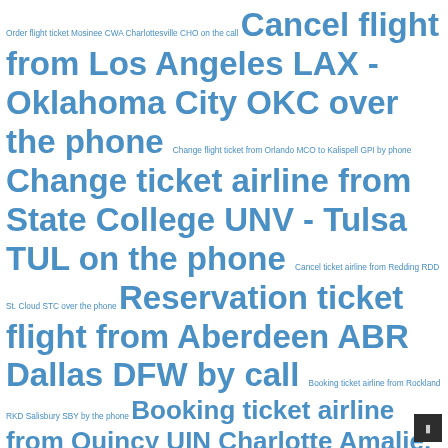Order flight ticket Mosinee CWA Charlottesville CHO on the call Cancel flight from Los Angeles LAX - Oklahoma City OKC over the phone Change flight ticket from Orlando MCO to Kalispell GPI by phone Change ticket airline from State College UNV - Tulsa TUL on the phone Cancel ticket airline from Redding RDD St. Cloud STC over the phone Reservation ticket flight from Aberdeen ABR Dallas DFW by call Booking ticket airline from Rockland RKD Salisbury SBY by the phone Booking ticket airline from Quincy UIN Charlotte Amalie, �St. Thomas STT over phone Cancel ticket flight Des Moines DSM Salt Lake City SLC by the phone Book ticket flight from Lexington LEX - Pago Pago, �Tutuila PPG by phone